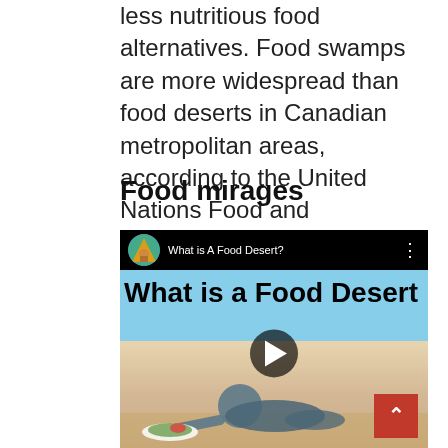less nutritious food alternatives. Food swamps are more widespread than food deserts in Canadian metropolitan areas, according to the United Nations Food and Agriculture Organization.
Food mirages
[Figure (screenshot): YouTube video thumbnail for 'What is A Food Desert?' showing a person crawling in a desert reaching for a plate of food, with play button overlay.]